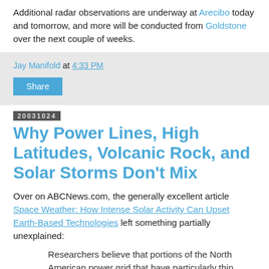Additional radar observations are underway at Arecibo today and tomorrow, and more will be conducted from Goldstone over the next couple of weeks.
Jay Manifold at 4:33 PM
Share
20031024
Why Power Lines, High Latitudes, Volcanic Rock, and Solar Storms Don't Mix
Over on ABCNews.com, the generally excellent article Space Weather: How Intense Solar Activity Can Upset Earth-Based Technologies left something partially unexplained:
Researchers believe that portions of the North American power grid that have particularly thin...